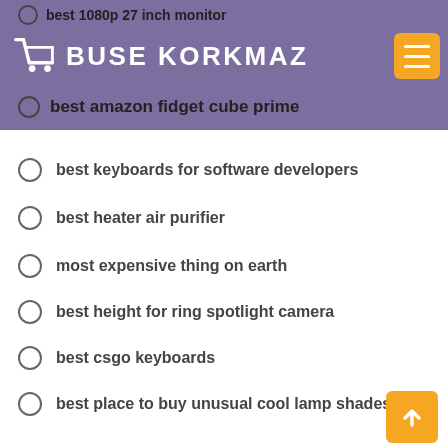BUSE KORKMAZ
best 1080p 27 inch monitor
best amazon fidget cube prime
best keyboards for software developers
best heater air purifier
most expensive thing on earth
best height for ring spotlight camera
best csgo keyboards
best place to buy unusual cool lamp shades
best lightweigh stroller
best laptops 202
best laptop that can play games